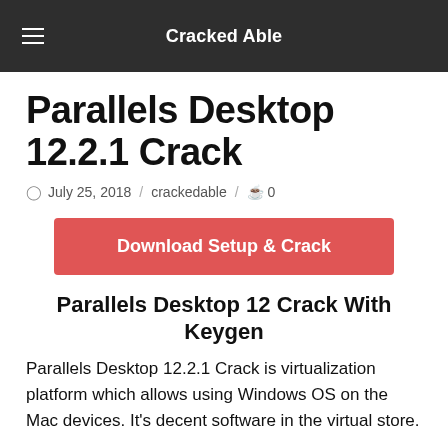Cracked Able
Parallels Desktop 12.2.1 Crack
July 25, 2018 / crackedable / 0
[Figure (other): Red download button labeled 'Download Setup & Crack']
Parallels Desktop 12 Crack With Keygen
Parallels Desktop 12.2.1 Crack is virtualization platform which allows using Windows OS on the Mac devices. It's decent software in the virtual store.